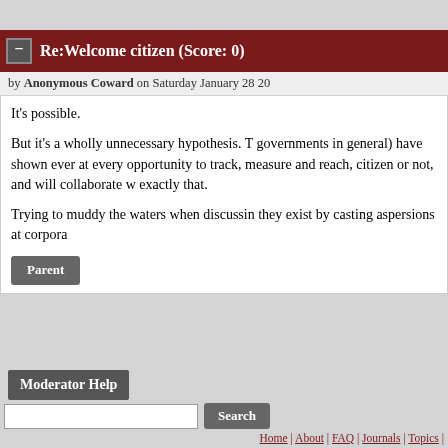Re:Welcome citizen (Score: 0)
by Anonymous Coward on Saturday January 28 20
It's possible.

But it's a wholly unnecessary hypothesis. T governments in general) have shown ever at every opportunity to track, measure and reach, citizen or not, and will collaborate w exactly that.

Trying to muddy the waters when discussin they exist by casting aspersions at corpora
Parent
Moderator Help
Search
Home | About | FAQ | Journals | Topics | Buy Gift Sub | Create Account
Privacy Policy: We don't track anyone except on relevant and are ignored. We don't collect any p